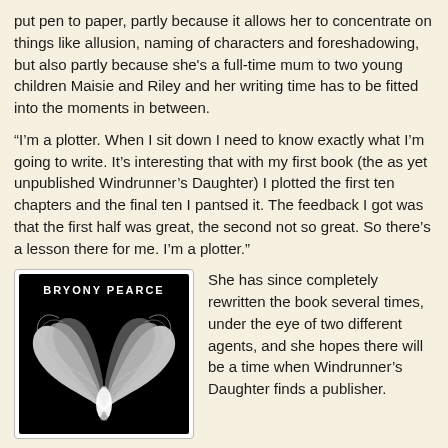put pen to paper, partly because it allows her to concentrate on things like allusion, naming of characters and foreshadowing, but also partly because she's a full-time mum to two young children Maisie and Riley and her writing time has to be fitted into the moments in between.
“I’m a plotter. When I sit down I need to know exactly what I’m going to write. It’s interesting that with my first book (the as yet unpublished Windrunner’s Daughter) I plotted the first ten chapters and the final ten I pantsed it. The feedback I got was that the first half was great, the second not so great. So there’s a lesson there for me. I’m a plotter.”
[Figure (illustration): Book cover for Bryony Pearce showing white bird wings against a black background with the author name BRYONY PEARCE in white text at the top]
She has since completely rewritten the book several times, under the eye of two different agents, and she hopes there will be a time when Windrunner’s Daughter finds a publisher.